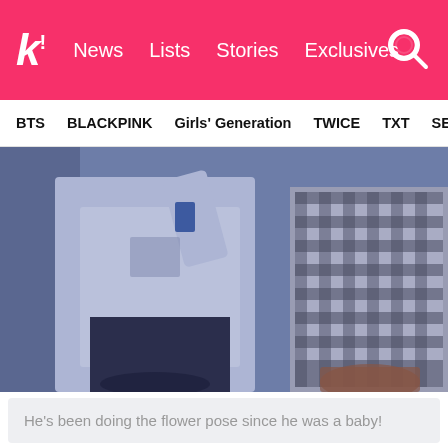k! News Lists Stories Exclusives
BTS BLACKPINK Girls' Generation TWICE TXT SEVE
[Figure (photo): Two people standing close together; one wearing a white sweatshirt with graphic print, the other wearing a black and white checkered flannel. The image has a vintage, low-saturation filter.]
He's been doing the flower pose since he was a baby!
This will be V's first appearance since TK